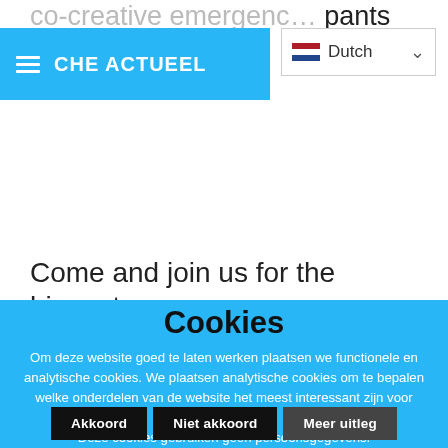co-creative emergenc… pants via deep dialogue.
Come and join us for the biggest
Cookies
Om deze website goed te laten werken plaatsen we functionele en analytische cookies. We plaatsen analytische cookies om te bepalen welke onderdelen van de website het meest interessant zijn voor bezoekers. Deze cookies gebruiken geen persoonsgegevens.
Akkoord
Niet akkoord
Meer uitleg